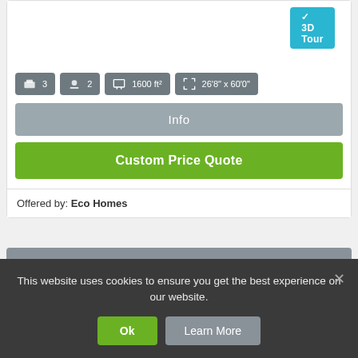[Figure (screenshot): 3D Tour button in teal/cyan color at top right of card]
3  2  1600 ft²  26'8" x 60'0"
Info
Custom Price Quote
Offered by: Eco Homes
NORTHWOOD / A25607
[Figure (logo): Edeni Homes circular logo in white circle]
This website uses cookies to ensure you get the best experience on our website.
Ok
Learn More